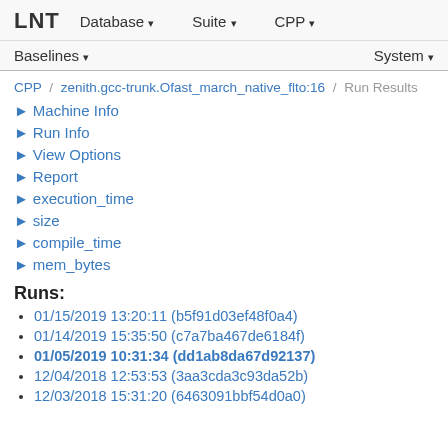LNT  Database ▾  Suite ▾  CPP ▾
Baselines ▾  System ▾
CPP / zenith.gcc-trunk.Ofast_march_native_flto:16 / Run Results
▶ Machine Info
▶ Run Info
▶ View Options
▶ Report
▶ execution_time
▶ size
▶ compile_time
▶ mem_bytes
Runs:
01/15/2019 13:20:11 (b5f91d03ef48f0a4)
01/14/2019 15:35:50 (c7a7ba467de6184f)
01/05/2019 10:31:34 (dd1ab8da67d92137)
12/04/2018 12:53:53 (3aa3cda3c93da52b)
12/03/2018 15:31:20 (6463091bbf54d0a0)